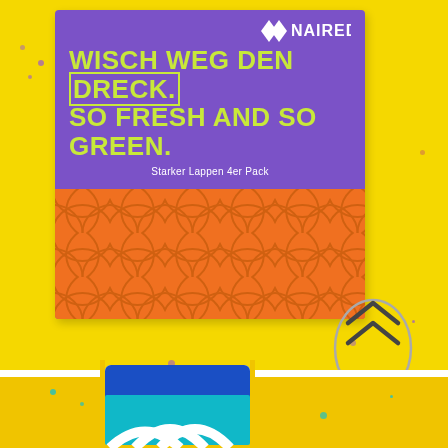[Figure (photo): Product advertisement for NAIRED cleaning cloths (Starker Lappen 4er Pack) on bright yellow background. Top section shows purple packaging with yellow bold text 'WISCH WEG DEN DRECK. SO FRESH AND SO GREEN.' with orange microfiber cloth visible. Bottom section shows a folded blue and teal cloth with white arc patterns. A circular logo with double chevron arrows appears on the right side.]